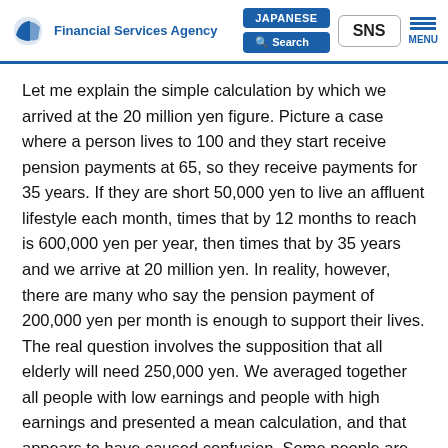Financial Services Agency | JAPANESE | Search | SNS | MENU
Let me explain the simple calculation by which we arrived at the 20 million yen figure. Picture a case where a person lives to 100 and they start receive pension payments at 65, so they receive payments for 35 years. If they are short 50,000 yen to live an affluent lifestyle each month, times that by 12 months to reach is 600,000 yen per year, then times that by 35 years and we arrive at 20 million yen. In reality, however, there are many who say the pension payment of 200,000 yen per month is enough to support their lives. The real question involves the supposition that all elderly will need 250,000 yen. We averaged together all people with low earnings and people with high earnings and presented a mean calculation, and that appears to have caused confusion. Some people are wondering if it applies to them. The way the calculation was presented was very easy to misunderstand.